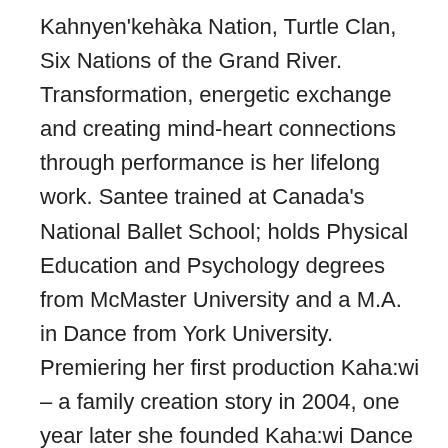Kahnyen'kehàka Nation, Turtle Clan, Six Nations of the Grand River. Transformation, energetic exchange and creating mind-heart connections through performance is her lifelong work. Santee trained at Canada's National Ballet School; holds Physical Education and Psychology degrees from McMaster University and a M.A. in Dance from York University. Premiering her first production Kaha:wi – a family creation story in 2004, one year later she founded Kaha:wi Dance Theatre which has grown into an internationally renowned company. Santee approaches her life and work in a sacred manner and the importance of sharing our gifts with others. Through her Onkwehonwe'neha creative process, Santee's work speaks to identity and humanity, role and responsibility of artists in community. She is a sought-after teacher and speaker on the performing arts, Indigenous performance